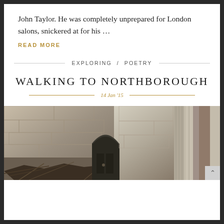John Taylor. He was completely unprepared for London salons, snickered at for his …
READ MORE
EXPLORING / POETRY
WALKING TO NORTHBOROUGH
14 Jan '15
[Figure (photo): Stone wall with an arched blue wooden door, rubble and sticks piled in front, Gothic-style stone column on the right side]